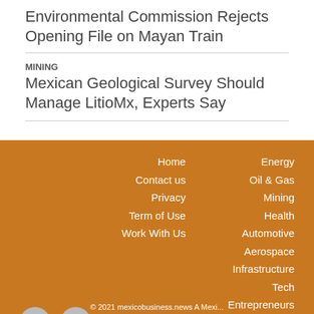Environmental Commission Rejects Opening File on Mayan Train
MINING
Mexican Geological Survey Should Manage LitioMx, Experts Say
[Figure (other): Website footer with orange background containing navigation links (Home, Contact us, Privacy, Term of Use, Work With Us, Energy, Oil & Gas, Mining, Health, Automotive, Aerospace, Infrastructure, Tech, Entrepreneurs, Professional Services) and social media icons (LinkedIn, Twitter, and a square icon), with copyright notice.]
© 2021 mexicobusiness.news A Mexi...